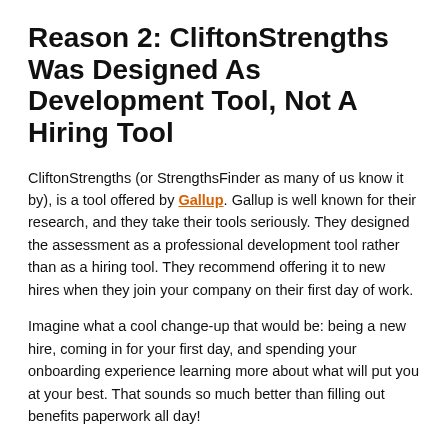Reason 2: CliftonStrengths Was Designed As Development Tool, Not A Hiring Tool
CliftonStrengths (or StrengthsFinder as many of us know it by), is a tool offered by Gallup. Gallup is well known for their research, and they take their tools seriously. They designed the assessment as a professional development tool rather than as a hiring tool. They recommend offering it to new hires when they join your company on their first day of work.
Imagine what a cool change-up that would be: being a new hire, coming in for your first day, and spending your onboarding experience learning more about what will put you at your best. That sounds so much better than filling out benefits paperwork all day!